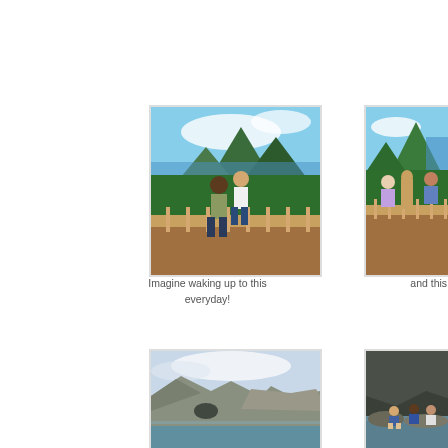[Figure (photo): Two men standing on a wooden deck/balcony with a view of green mountains (the Pitons in St. Lucia) and ocean in the background]
[Figure (photo): Group of people standing on a wooden deck/balcony with the Pitons mountains and ocean visible in the background]
Imagine waking up to this everyday!
and this!
[Figure (photo): Rocky coastal cliffs with calm water in the foreground and overcast sky]
[Figure (photo): People sitting on rocks near water with dark cliffs behind them]